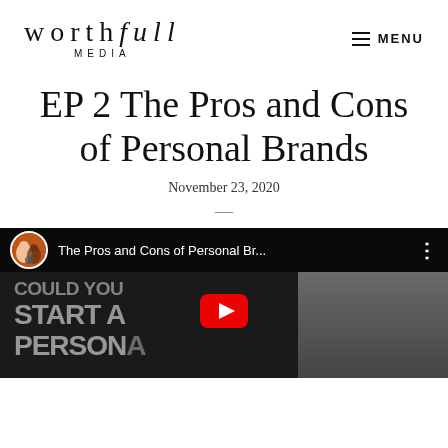worthfull MEDIA — MENU
EP 2 The Pros and Cons of Personal Brands
November 23, 2020
—
[Figure (screenshot): YouTube video thumbnail showing 'The Pros and Cons of Personal Br...' with podcast logo avatar, dark background with large text 'COULD YOU START A PERSONAL' and a person wearing a dark beanie hat on the right side, with a YouTube play button overlay.]